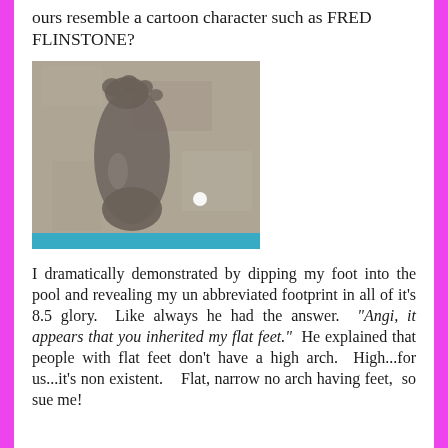ours resemble a cartoon character such as FRED FLINSTONE?
[Figure (photo): A wet footprint on a concrete pool deck surface showing a flat foot impression with no visible arch. A blue pool edge is visible at the bottom.]
I dramatically demonstrated by dipping my foot into the pool and revealing my un abbreviated footprint in all of it's 8.5 glory.  Like always he had the answer.  "Angi, it appears that you inherited my flat feet."  He explained that people with flat feet don't have a high arch.  High...for us...it's non existent.   Flat, narrow no arch having feet, so sue me!